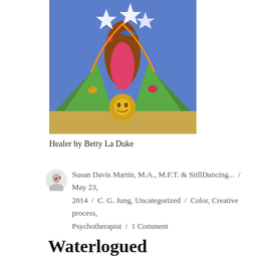[Figure (illustration): Colorful folk art painting titled 'Healer by Betty La Duke' showing stylized figures, birds, and a sun face on a blue background with green wing-like forms]
Healer by Betty La Duke
Susan Davis Martin, M.A., M.F.T. & StillDancing... / May 23, 2014 / C. G. Jung, Uncategorized / Color, Creative process, Psychotherapist / 1 Comment
Waterlogued